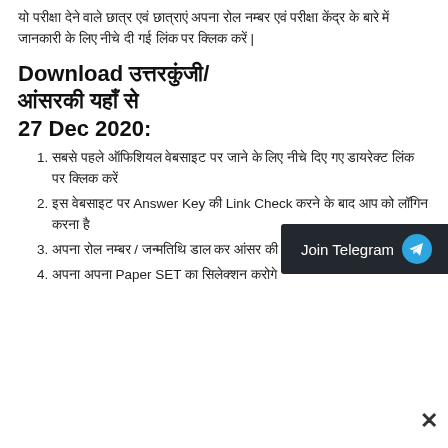यो परीक्षा देने वाले छात्र एवं छात्राएं अपना रोल नम्बर एवं परीक्षा केंद्र के बारे में जानकारी के लिए नीचे दी गई लिंक पर क्लिक करें |
Download उत्तरकुंजी/आंसरकी यहाँ से27 Dec 2020:
सबसे पहले ऑफिशियल वेबसाइट पर जाने के लिए नीचे दिए गए डायरेक्ट लिंक पर क्लिक करें
इस वेबसाइट पर Answer Key की Link Check करने के बाद आप को लॉगिन करना है
अपना रोल नम्बर / जन्मतिथि डाल कर आंसर की यहाँ से Show होगी
अपना अपना Paper SET का सिलेक्शन करोगे